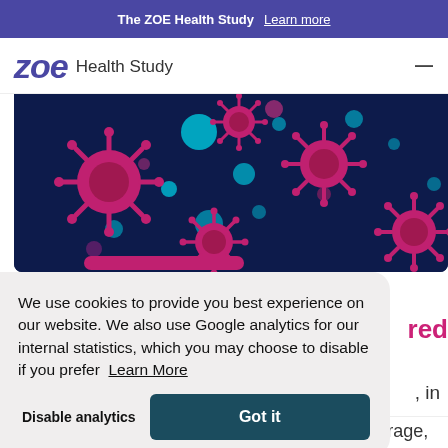The ZOE Health Study  Learn more
zoe Health Study
[Figure (illustration): Dark navy blue background with illustrated pink/magenta coronavirus particles and cyan/blue circular dots scattered across the image, representing COVID-19 virus particles.]
We use cookies to provide you best experience on our website. We also use Google analytics for our internal statistics, which you may choose to disable if you prefer  Learn More
Disable analytics   Got it
red
, in
symptomatic cases of COVID in the UK on average,